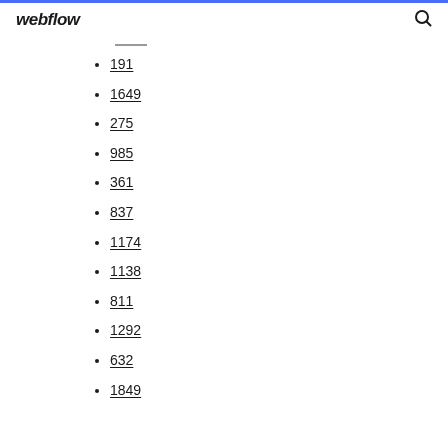webflow
191
1649
275
985
361
837
1174
1138
811
1292
632
1849